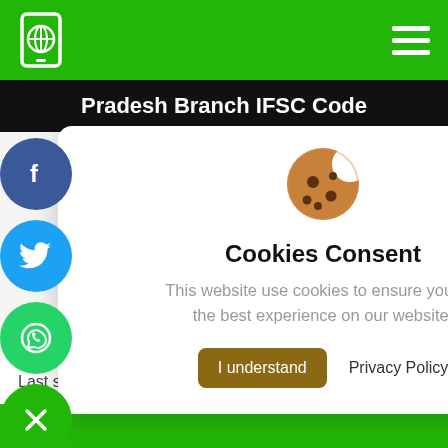Pradesh Branch IFSC Code
[Figure (screenshot): Cookie consent modal overlay on a website showing IFSC code information. The modal has a cookie emoji icon, title 'Cookies Consent', descriptive text, and two buttons: 'I understand' and 'Privacy Policy'. Behind the modal are social share buttons (Facebook, Twitter, WhatsApp, close), blue number boxes showing '292', partial text 'Code', 'code', '- it's'.]